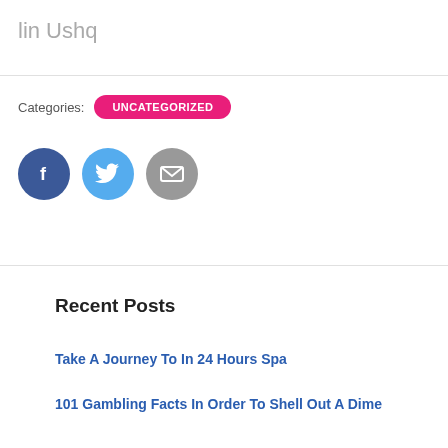lin Ushq
Categories: UNCATEGORIZED
[Figure (other): Social share buttons: Facebook (dark blue circle with f icon), Twitter (light blue circle with bird icon), Email (gray circle with envelope icon)]
Recent Posts
Take A Journey To In 24 Hours Spa
101 Gambling Facts In Order To Shell Out A Dime